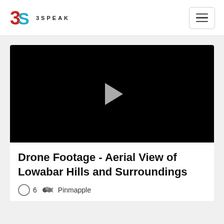3SPEAK
[Figure (screenshot): Video player with black background and a grey play button triangle in the center]
Drone Footage - Aerial View of Lowabar Hills and Surroundings
6  Pinmapple